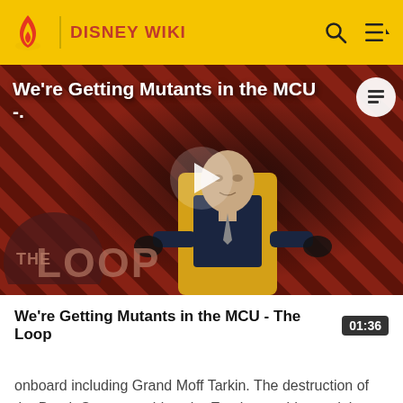DISNEY WIKI
[Figure (screenshot): Video thumbnail showing a bald man in a suit seated in a yellow chair against a red and black diagonal striped background with The Loop logo overlay. Play button visible in center. Title overlay reads: We're Getting Mutants in the MCU -.]
We're Getting Mutants in the MCU - The Loop
onboard including Grand Moff Tarkin. The destruction of the Death Star was a blow the Empire would spend three years recovering from.